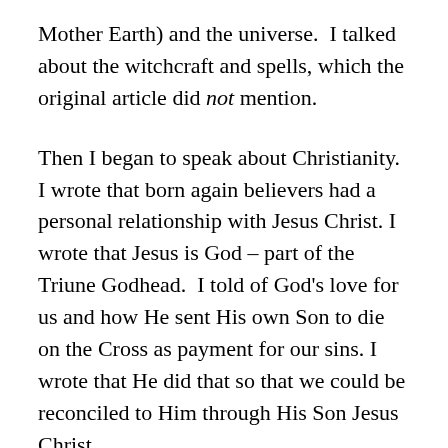Mother Earth) and the universe.  I talked about the witchcraft and spells, which the original article did not mention.
Then I began to speak about Christianity.  I wrote that born again believers had a personal relationship with Jesus Christ. I wrote that Jesus is God – part of the Triune Godhead.  I told of God's love for us and how He sent His own Son to die on the Cross as payment for our sins. I wrote that He did that so that we could be reconciled to Him through His Son Jesus Christ.
I explained that everything – the heavens